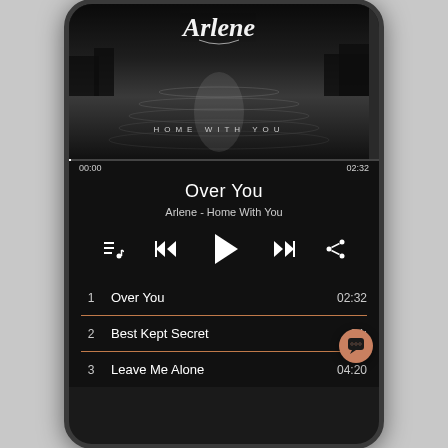[Figure (screenshot): Music player app screenshot on a smartphone. Shows album art for 'Arlene - Home With You' with a black and white water/lake scene and cursive 'Arlene' text. Below the image: progress bar showing 00:00 to 02:32. Track title 'Over You', artist/album 'Arlene - Home With You', playback controls (queue, previous, play, next, share), and a tracklist: 1. Over You 02:32, 2. Best Kept Secret 04:xx, 3. Leave Me Alone 04:20. A chat bubble icon overlaps bottom right.]